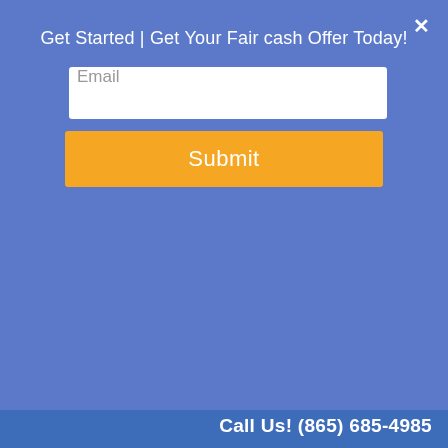[Figure (screenshot): Website screenshot showing a modal popup overlay on a real estate property buyer website for Tennessee Property Buyers. The modal has a blue background with a white email input field, an orange Submit button, and a close X button. Below the modal is the website header with the Tennessee Property Buyers logo and a house with money illustration, a Menu navigation link, and a partially visible article title reading '4 Tips to Flip a House in Knoxville'. A blue footer bar shows a phone number.]
Get Started | Get Your Fair cash Offer Today!
Email
Submit
TENNESSPROPERTY-BUYERS www.tnpropertyliquidators.com
Menu ▼
4 Tips to Flip a House in Knoxville
Call Us! (865) 685-4985